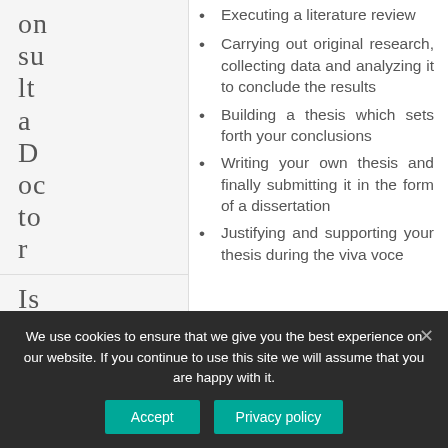Executing a literature review
Carrying out original research, collecting data and analyzing it to conclude the results
Building a thesis which sets forth your conclusions
Writing your own thesis and finally submitting it in the form of a dissertation
Justifying and supporting your thesis during the viva voce
We use cookies to ensure that we give you the best experience on our website. If you continue to use this site we will assume that you are happy with it.